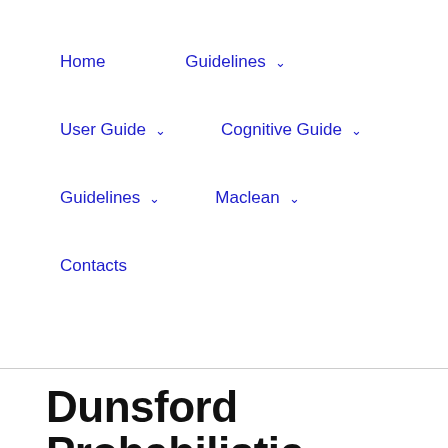Home
Guidelines
User Guide
Cognitive Guide
Guidelines
Maclean
Contacts
Dunsford Probabilistic